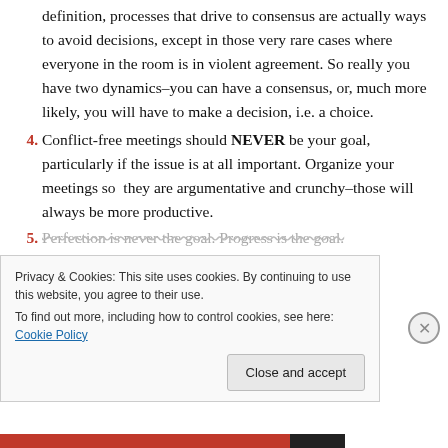definition, processes that drive to consensus are actually ways to avoid decisions, except in those very rare cases where everyone in the room is in violent agreement. So really you have two dynamics–you can have a consensus, or, much more likely, you will have to make a decision, i.e. a choice.
4. Conflict-free meetings should NEVER be your goal, particularly if the issue is at all important. Organize your meetings so they are argumentative and crunchy–those will always be more productive.
5. Perfection is never the goal. Progress is the goal.
Privacy & Cookies: This site uses cookies. By continuing to use this website, you agree to their use.
To find out more, including how to control cookies, see here: Cookie Policy